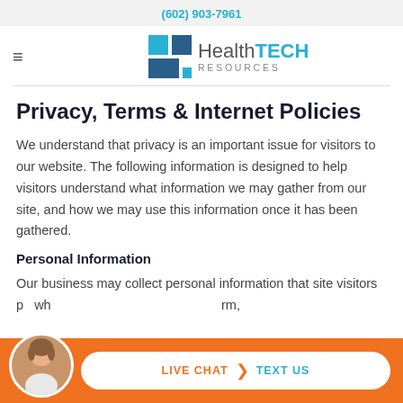(602) 903-7961
[Figure (logo): HealthTECH Resources logo with blue grid icon and company name]
Privacy, Terms & Internet Policies
We understand that privacy is an important issue for visitors to our website. The following information is designed to help visitors understand what information we may gather from our site, and how we may use this information once it has been gathered.
Personal Information
Our business may collect personal information that site visitors p   wh                                              rm,
[Figure (infographic): Orange bottom bar with chat agent avatar, LIVE CHAT and TEXT US pill button]